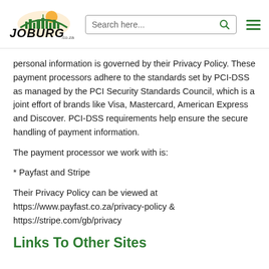[Figure (logo): Joburg.co.za logo with city skyline and sun graphic]
personal information is governed by their Privacy Policy. These payment processors adhere to the standards set by PCI-DSS as managed by the PCI Security Standards Council, which is a joint effort of brands like Visa, Mastercard, American Express and Discover. PCI-DSS requirements help ensure the secure handling of payment information.
The payment processor we work with is:
* Payfast and Stripe
Their Privacy Policy can be viewed at https://www.payfast.co.za/privacy-policy & https://stripe.com/gb/privacy
Links To Other Sites